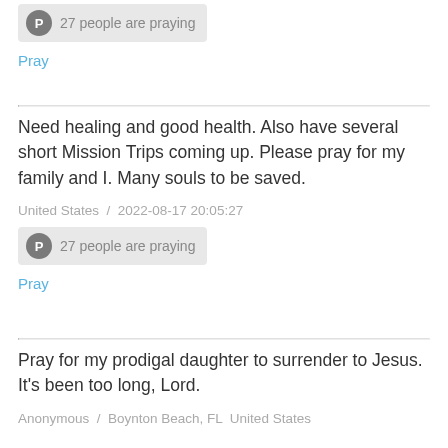27 people are praying
Pray
Need healing and good health. Also have several short Mission Trips coming up. Please pray for my family and I. Many souls to be saved.
United States  /  2022-08-17 20:05:27
27 people are praying
Pray
Pray for my prodigal daughter to surrender to Jesus. It's been too long, Lord.
Anonymous  /  Boynton Beach, FL  United States